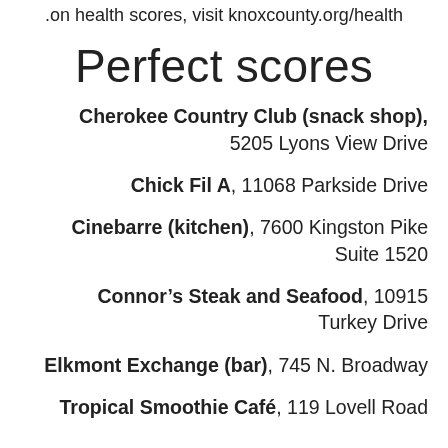.on health scores, visit knoxcounty.org/health
Perfect scores
Cherokee Country Club (snack shop), 5205 Lyons View Drive
Chick Fil A, 11068 Parkside Drive
Cinebarre (kitchen), 7600 Kingston Pike Suite 1520
Connor’s Steak and Seafood, 10915 Turkey Drive
Elkmont Exchange (bar), 745 N. Broadway
Tropical Smoothie Café, 119 Lovell Road